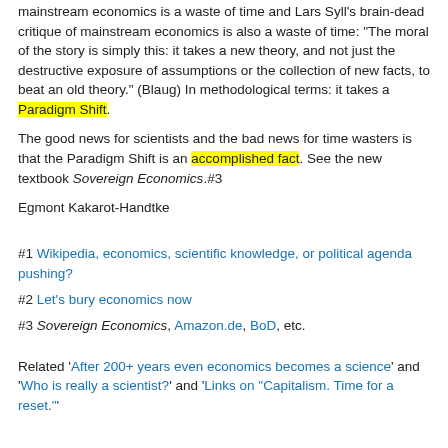mainstream economics is a waste of time and Lars Syll's brain-dead critique of mainstream economics is also a waste of time: "The moral of the story is simply this: it takes a new theory, and not just the destructive exposure of assumptions or the collection of new facts, to beat an old theory." (Blaug) In methodological terms: it takes a Paradigm Shift.
The good news for scientists and the bad news for time wasters is that the Paradigm Shift is an accomplished fact. See the new textbook Sovereign Economics.#3
Egmont Kakarot-Handtke
#1 Wikipedia, economics, scientific knowledge, or political agenda pushing?
#2 Let's bury economics now
#3 Sovereign Economics, Amazon.de, BoD, etc.
Related 'After 200+ years even economics becomes a science' and 'Who is really a scientist?' and 'Links on "Capitalism. Time for a reset."'